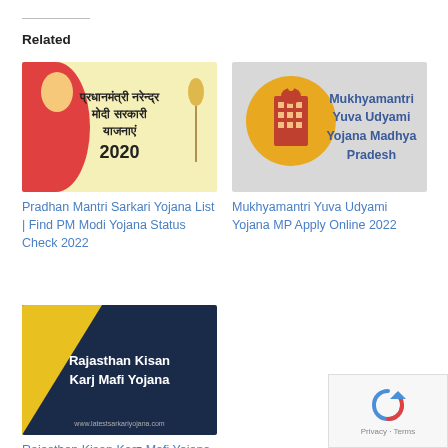Related
[Figure (illustration): Pradhan Mantri Sarkari Yojana 2020 banner with Hindi text and PM Modi image]
Pradhan Mantri Sarkari Yojana List | Find PM Modi Yojana Status Check 2022
[Figure (illustration): Mukhyamantri Yuva Udyami Yojana Madhya Pradesh banner with building icon on yellow circle]
Mukhyamantri Yuva Udyami Yojana MP Apply Online 2022
[Figure (illustration): Rajasthan Kisan Karj Mafi Yojana banner with dark blue background and yellow triangle]
Rajasthan Kisan Karz Mafi Yojana 2022 Online Registration, Check Status